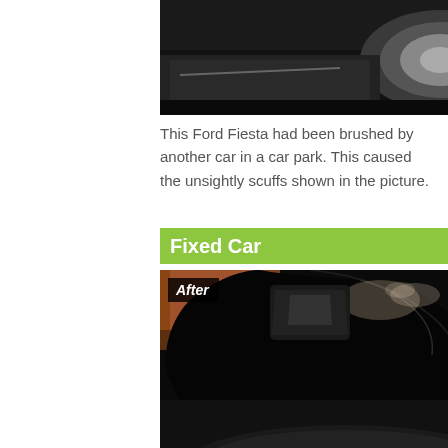[Figure (photo): Close-up photo of a Ford Fiesta showing scuff damage on the lower body panel near the wheel, before repair.]
This Ford Fiesta had been brushed by another car in a car park. This caused the unsightly scuffs shown in the picture.
Fixed Car
[Figure (photo): After photo of a black Ford Fiesta showing the repaired side panel, gleaming and scratch-free, with 'After' label overlay.]